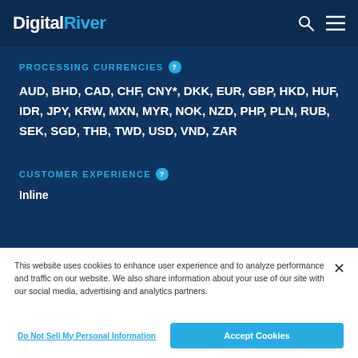Digital River
PROCESSING CURRENCIES
AUD, BHD, CAD, CHF, CNY*, DKK, EUR, GBP, HKD, HUF, IDR, JPY, KRW, MXN, MYR, NOK, NZD, PHP, PLN, RUB, SEK, SGD, THB, TWD, USD, VND, ZAR
CUSTOMER EXPERIENCE
Inline
This website uses cookies to enhance user experience and to analyze performance and traffic on our website. We also share information about your use of our site with our social media, advertising and analytics partners.
Do Not Sell My Personal Information
Accept Cookies